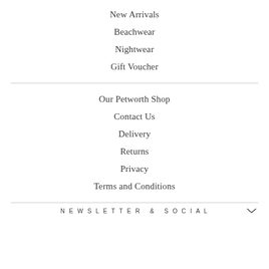New Arrivals
Beachwear
Nightwear
Gift Voucher
Our Petworth Shop
Contact Us
Delivery
Returns
Privacy
Terms and Conditions
NEWSLETTER & SOCIAL